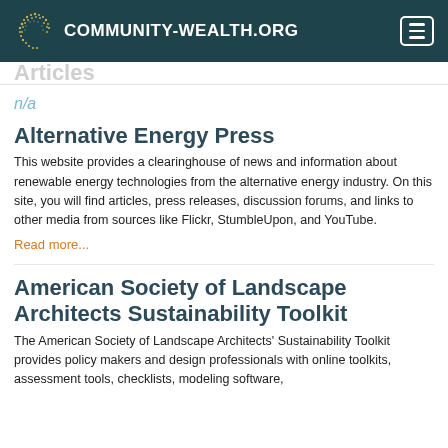COMMUNITY-WEALTH.ORG
n/a
Alternative Energy Press
This website provides a clearinghouse of news and information about renewable energy technologies from the alternative energy industry. On this site, you will find articles, press releases, discussion forums, and links to other media from sources like Flickr, StumbleUpon, and YouTube.
Read more...
American Society of Landscape Architects Sustainability Toolkit
The American Society of Landscape Architects' Sustainability Toolkit provides policy makers and design professionals with online toolkits, assessment tools, checklists, modeling software,